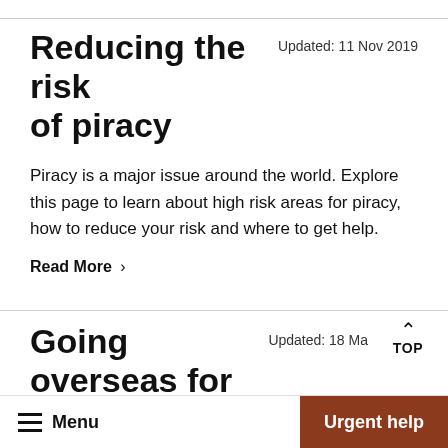Reducing the risk of piracy
Updated: 11 Nov 2019
Piracy is a major issue around the world. Explore this page to learn about high risk areas for piracy, how to reduce your risk and where to get help.
Read More >
Going overseas for international surrogacy
Updated: 18 Ma
Information for Australians overseas f…
Menu | Urgent help